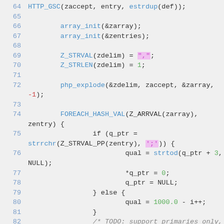[Figure (screenshot): Source code listing in C showing lines 64-83 with syntax highlighting. Blue function/macro names, green numeric literals, pink/highlighted string literals, grey italic comments.]